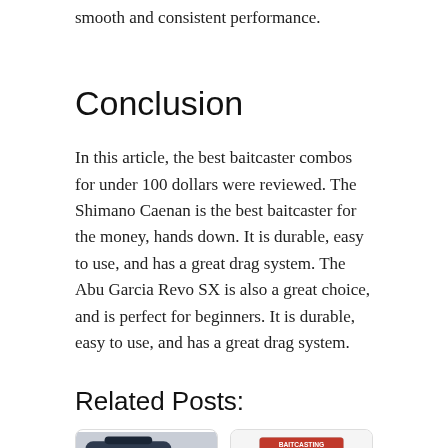smooth and consistent performance.
Conclusion
In this article, the best baitcaster combos for under 100 dollars were reviewed. The Shimano Caenan is the best baitcaster for the money, hands down. It is durable, easy to use, and has a great drag system. The Abu Garcia Revo SX is also a great choice, and is perfect for beginners. It is durable, easy to use, and has a great drag system.
Related Posts:
[Figure (photo): Photo of a fishing rod and reel bag/case with strap]
[Figure (photo): Photo of a Baitcasting Combo Quick Guide book cover]